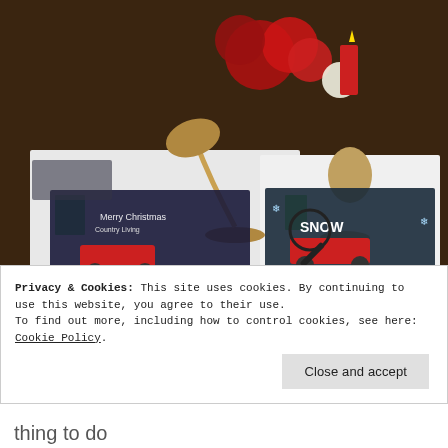[Figure (photo): A desk with two gold/brass desk lamps, Christmas poinsettia flowers (red and white), a red candle, books/papers, and two diamond painting kits featuring a red vintage truck with SNOW text and Christmas greetings. A magnifying glass and keyboard are also visible. Watermark '@joyofarcating' at the bottom.]
Privacy & Cookies: This site uses cookies. By continuing to use this website, you agree to their use.
To find out more, including how to control cookies, see here: Cookie Policy.
Close and accept
thing to do